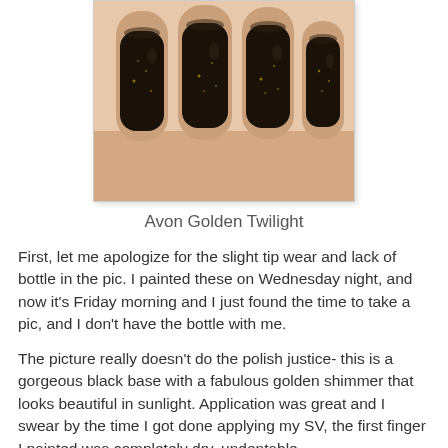[Figure (photo): Close-up photo of four fingers with dark black nail polish with golden shimmer, fingertips pointing downward, skin-toned background.]
Avon Golden Twilight
First, let me apologize for the slight tip wear and lack of bottle in the pic. I painted these on Wednesday night, and now it's Friday morning and I just found the time to take a pic, and I don't have the bottle with me.
The picture really doesn't do the polish justice- this is a gorgeous black base with a fabulous golden shimmer that looks beautiful in sunlight. Application was great and I swear by the time I got done applying my SV, the first finger I painted was completely dry, undentable.
Avon has their nail polishes on sale right now for $2.99.